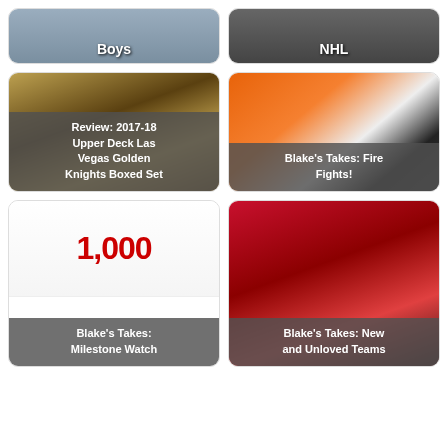[Figure (photo): Partial card top-left: hockey player image with label 'Boys']
[Figure (photo): Partial card top-right: hockey rink image with label 'NHL']
[Figure (photo): Card: Review: 2017-18 Upper Deck Las Vegas Golden Knights Boxed Set]
[Figure (photo): Card: Blake's Takes: Fire Fights!]
[Figure (photo): Card: Blake's Takes: Milestone Watch — 1,000 games graphic]
[Figure (photo): Card: Blake's Takes: New and Unloved Teams]